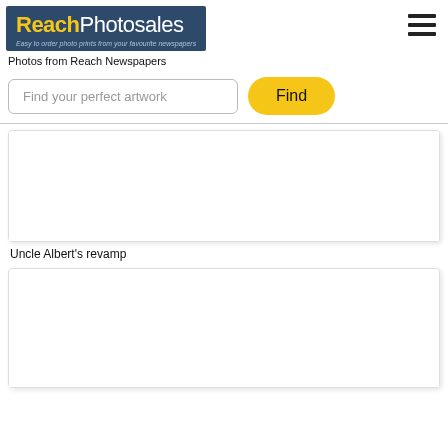[Figure (logo): ReachPhotosales logo — dark blue background with 'Reach' in yellow bold and 'Photosales' in white, tagline: 'Easy to order photo prints from your favourite newspapers']
Photos from Reach Newspapers
Find your perfect artwork
Find
[Figure (photo): Blank/white photo placeholder card]
Uncle Albert's revamp
[Figure (photo): Blank/white photo placeholder card (second)]